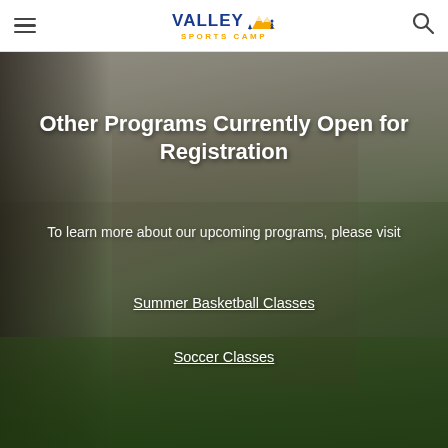Valley Sports Camp — navigation header with hamburger menu and search icon
[Figure (photo): Outdoor photo of children playing soccer on a grass field with an adult in a blue shirt on the left, buildings and trees in the background. Two children in the foreground chasing a soccer ball.]
Other Programs Currently Open for Registration
To learn more about our upcoming programs, please visit
Summer Basketball Classes
Soccer Classes